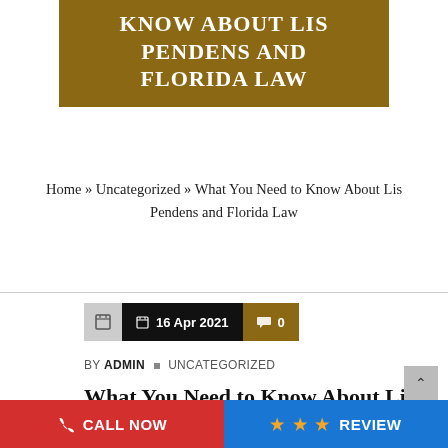KNOW ABOUT LIS PENDENS AND FLORIDA LAW
Home » Uncategorized » What You Need to Know About Lis Pendens and Florida Law
16 Apr 2021  0
BY ADMIN  UNCATEGORIZED
What You Need to Know About Lis Pendens and Florida Law
CALL NOW  REVIEW